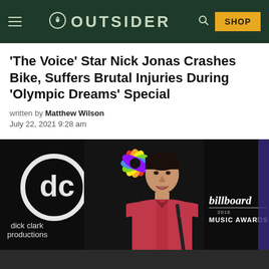OUTSIDER
'The Voice' Star Nick Jonas Crashes Bike, Suffers Brutal Injuries During 'Olympic Dreams' Special
written by Matthew Wilson
July 22, 2021 9:28 am
[Figure (photo): Nick Jonas posing at the Billboard Music Awards 2018 red carpet, wearing a dark pink/magenta button-up shirt, in front of a black backdrop with Billboard Music Awards logo and dick clark productions logo, NBC peacock logo visible above.]